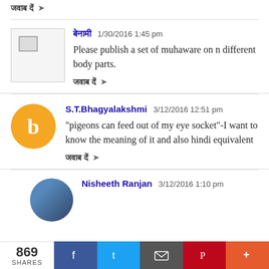जवाब दें ↪
बेनामी 1/30/2016 1:45 pm
Please publish a set of muhaware on n different body parts.
जवाब दें ↪
S.T.Bhagyalakshmi 3/12/2016 12:51 pm
"pigeons can feed out of my eye socket"-I want to know the meaning of it and also hindi equivalent
जवाब दें ↪
Nisheeth Ranjan 3/12/2016 1:10 pm
869 SHARES  f  t  email  p  +